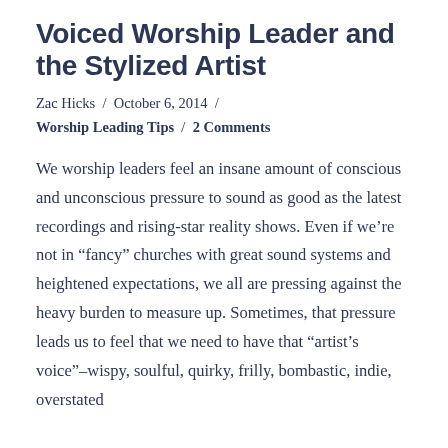Voiced Worship Leader and the Stylized Artist
Zac Hicks / October 6, 2014 / Worship Leading Tips / 2 Comments
We worship leaders feel an insane amount of conscious and unconscious pressure to sound as good as the latest recordings and rising-star reality shows. Even if we’re not in “fancy” churches with great sound systems and heightened expectations, we all are pressing against the heavy burden to measure up. Sometimes, that pressure leads us to feel that we need to have that “artist’s voice”–wispy, soulful, quirky, frilly, bombastic, indie, overstated